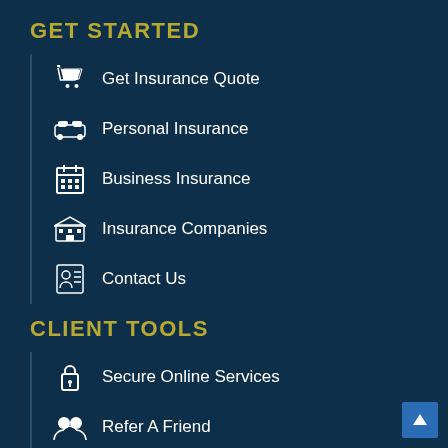GET STARTED
Get Insurance Quote
Personal Insurance
Business Insurance
Insurance Companies
Contact Us
CLIENT TOOLS
Secure Online Services
Refer A Friend
Claims & Bill Payments
News & Articles
Online Calculators